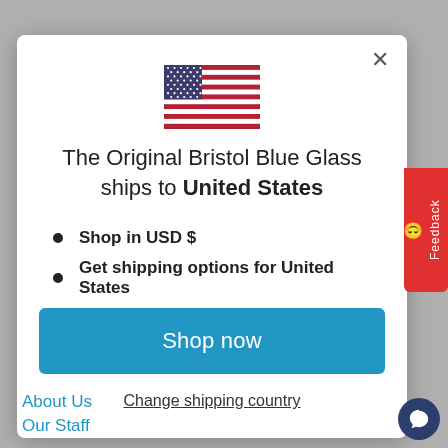[Figure (illustration): US flag emoji/icon displayed centered at top of modal]
The Original Bristol Blue Glass ships to United States
Shop in USD $
Get shipping options for United States
Shop now
Change shipping country
About Us
Our Staff